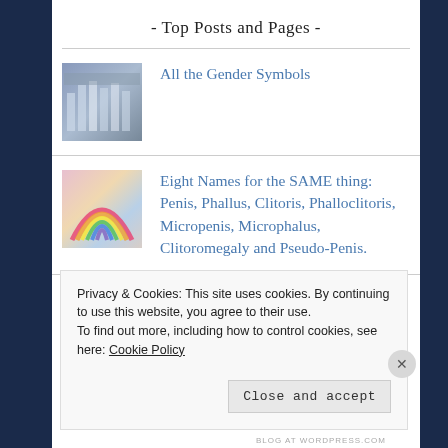- Top Posts and Pages -
All the Gender Symbols
Eight Names for the SAME thing: Penis, Phallus, Clitoris, Phalloclitoris, Micropenis, Microphalus, Clitoromegaly and Pseudo-Penis.
Privacy & Cookies: This site uses cookies. By continuing to use this website, you agree to their use.
To find out more, including how to control cookies, see here: Cookie Policy
Close and accept